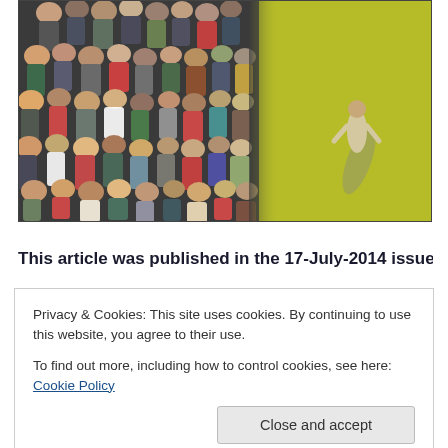[Figure (photo): Aerial view of a large crowd of people on the left side, and a single person standing alone on a yellow-green background on the right side]
This article was published in the 17-July-2014 issue of
Privacy & Cookies: This site uses cookies. By continuing to use this website, you agree to their use.
To find out more, including how to control cookies, see here: Cookie Policy
Close and accept
...competition. Out it comes, and as a result...